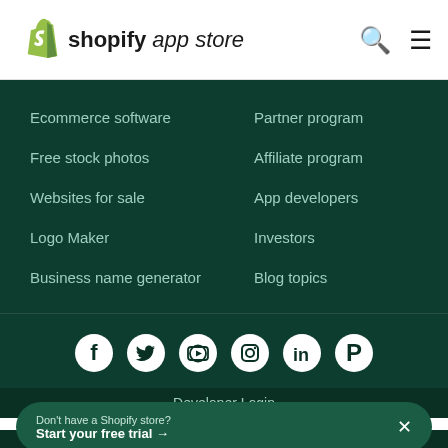Shopify App Store
Ecommerce software
Free stock photos
Websites for sale
Logo Maker
Business name generator
Partner program
Affiliate program
App developers
Investors
Blog topics
[Figure (infographic): Social media icons row: Facebook, Twitter, YouTube, Instagram, LinkedIn, Pinterest — white circles on dark green background]
Developer Login
Don't have a Shopify store? Start your free trial →
Privacy Policy